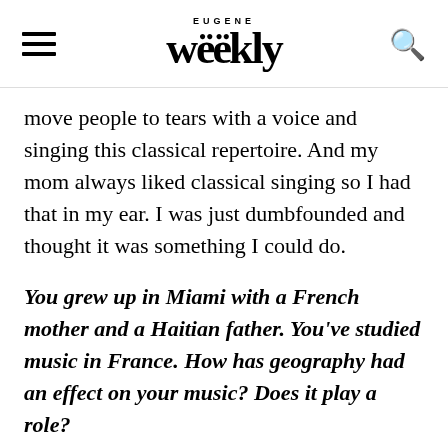EUGENE Weekly
move people to tears with a voice and singing this classical repertoire. And my mom always liked classical singing so I had that in my ear. I was just dumbfounded and thought it was something I could do.
You grew up in Miami with a French mother and a Haitian father. You've studied music in France. How has geography had an effect on your music? Does it play a role?
Being brought up in the family that I was and music being such a central part of our everyday life — not just French and Haitian music, but